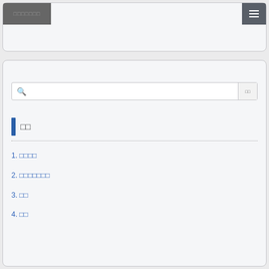[Figure (screenshot): Top navigation bar with logo block on left and hamburger menu button on right, inside a rounded card with light background]
[Figure (screenshot): Main content card with search bar containing magnifying glass icon and search button, a section header with blue vertical bar and CJK text, a dotted separator, and four numbered list items with CJK text links]